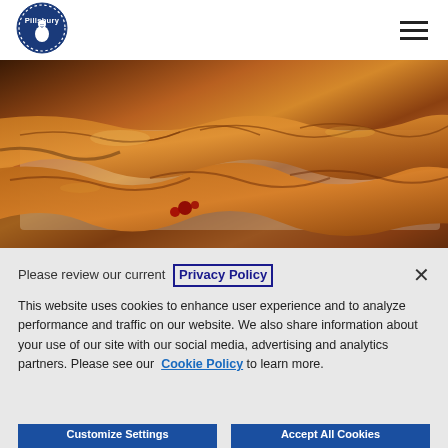[Figure (logo): Pillsbury circular logo in navy blue with white text and dotted border]
[Figure (photo): Close-up photo of braided pastries/strudels with cherries filling, golden brown baked dough on a baking tray]
Please review our current Privacy Policy
This website uses cookies to enhance user experience and to analyze performance and traffic on our website. We also share information about your use of our site with our social media, advertising and analytics partners. Please see our Cookie Policy to learn more.
Customize Settings
Accept All Cookies